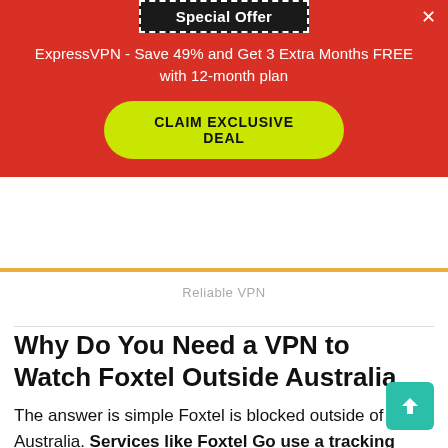Special Offer
ExpressVPN - Save 49% and Get 3 Extra Months FREE with 12-month plan
CLAIM EXCLUSIVE DEAL
Reliable VPN
Why Do You Need a VPN to Watch Foxtel Outside Australia
The answer is simple Foxtel is blocked outside of Australia. Services like Foxtel Go use a tracking system to block the users who are trying to access their service from overseas outside Australia because of content geo-restriction.